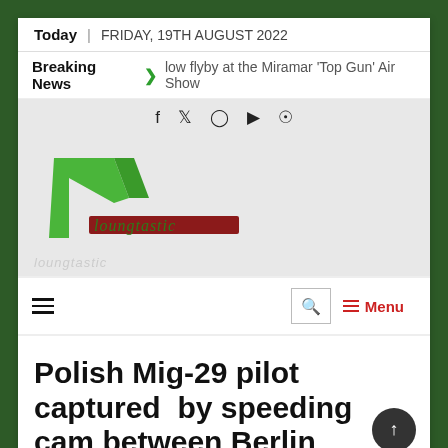Today | FRIDAY, 19TH AUGUST 2022
Breaking News > low flyby at the Miramar 'Top Gun' Air Show
[Figure (logo): Loungtastic news website logo with green angular chevron graphic and italic text 'loungtastic']
Menu
Polish Mig-29 pilot captured by speeding cam between Berlin and...